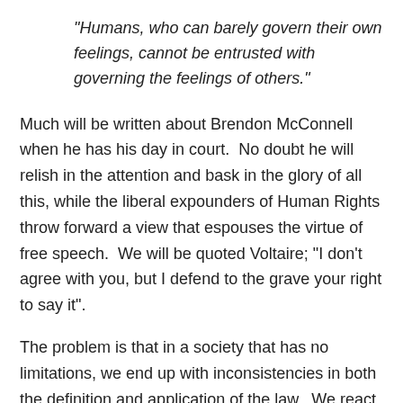“Humans, who can barely govern their own feelings, cannot be entrusted with governing the feelings of others.”
Much will be written about Brendon McConnell when he has his day in court.  No doubt he will relish in the attention and bask in the glory of all this, while the liberal expounders of Human Rights throw forward a view that espouses the virtue of free speech.  We will be quoted Voltaire; “I don’t agree with you, but I defend to the grave your right to say it”.
The problem is that in a society that has no limitations, we end up with inconsistencies in both the definition and application of the law.  We react to specific incidents with supposed controls, with no means of enforcement, and no sense of recourse for non-compliance.  We also give unintended attention and ironic credence to the...